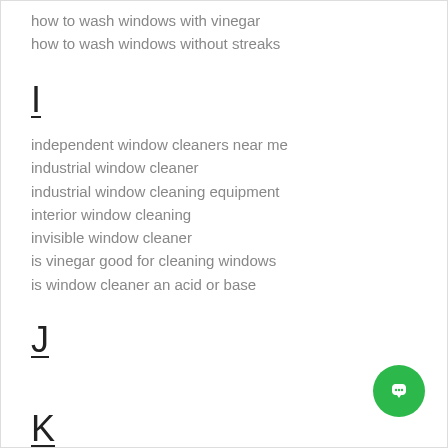how to wash windows with vinegar
how to wash windows without streaks
I
independent window cleaners near me
industrial window cleaner
industrial window cleaning equipment
interior window cleaning
invisible window cleaner
is vinegar good for cleaning windows
is window cleaner an acid or base
J
K